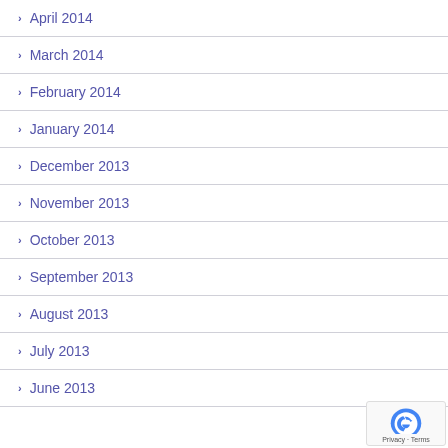April 2014
March 2014
February 2014
January 2014
December 2013
November 2013
October 2013
September 2013
August 2013
July 2013
June 2013